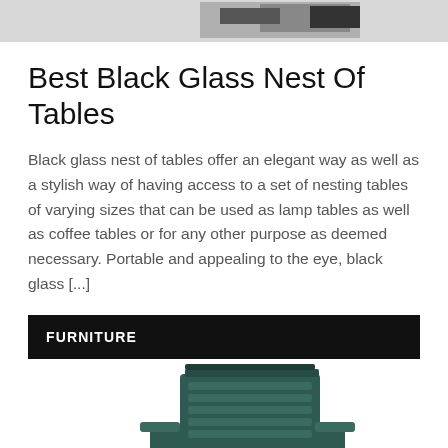[Figure (photo): Partial image of a black glass nest of tables at the top of the page, cropped]
Best Black Glass Nest Of Tables
Black glass nest of tables offer an elegant way as well as a stylish way of having access to a set of nesting tables of varying sizes that can be used as lamp tables as well as coffee tables or for any other purpose as deemed necessary. Portable and appealing to the eye, black glass [...]
FURNITURE
[Figure (photo): Dark teal/green plastic stacking chairs arranged in a stack, photographed against a white background]